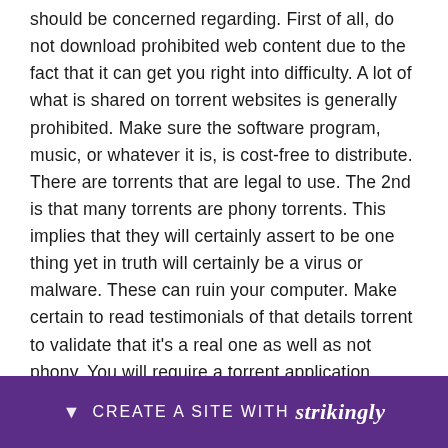should be concerned regarding. First of all, do not download prohibited web content due to the fact that it can get you right into difficulty. A lot of what is shared on torrent websites is generally prohibited. Make sure the software program, music, or whatever it is, is cost-free to distribute. There are torrents that are legal to use. The 2nd is that many torrents are phony torrents. This implies that they will certainly assert to be one thing yet in truth will certainly be a virus or malware. These can ruin your computer. Make certain to read testimonials of that details torrent to validate that it's a real one as well as not phony. You will require a torrent application. Popular ones are BitTorrent, UTorrent, and also Azureus. The torrent data will just aid you link to the other people with the files that you are seeking to ensure that every person can be downloading and install as well as publishing together. Whereas in the traditional method the data is got from one resource, in torrents it is from s... ...ut together... ...l
[Figure (other): Strikingly website builder promotional banner bar at the bottom of the page. Dark purple background with a downward arrow icon, text 'CREATE A SITE WITH strikingly' in white.]